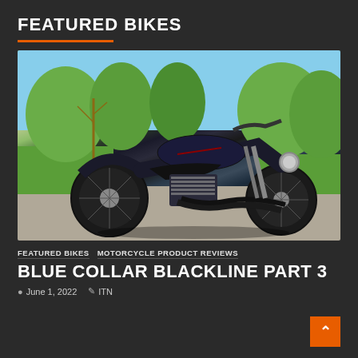FEATURED BIKES
[Figure (photo): A custom black Harley-Davidson Softail Blackline motorcycle parked on a driveway with trees in the background]
FEATURED BIKES  MOTORCYCLE PRODUCT REVIEWS
BLUE COLLAR BLACKLINE PART 3
June 1, 2022  ITN